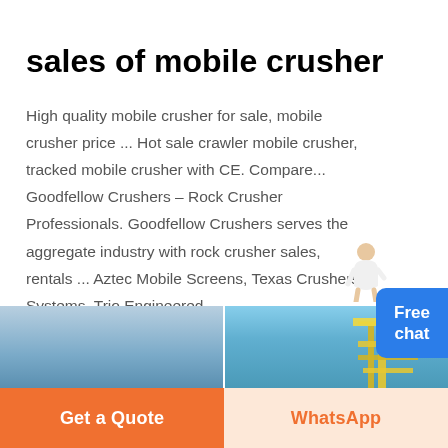sales of mobile crusher
High quality mobile crusher for sale, mobile crusher price ... Hot sale crawler mobile crusher, tracked mobile crusher with CE. Compare... Goodfellow Crushers – Rock Crusher Professionals. Goodfellow Crushers serves the aggregate industry with rock crusher sales, rentals ... Aztec Mobile Screens, Texas Crushers Systems, Trio Engineered ...
Read More
[Figure (photo): Left photo showing blue sky background, partial view of industrial equipment]
[Figure (photo): Right photo showing yellow industrial crusher/mining structure against blue sky]